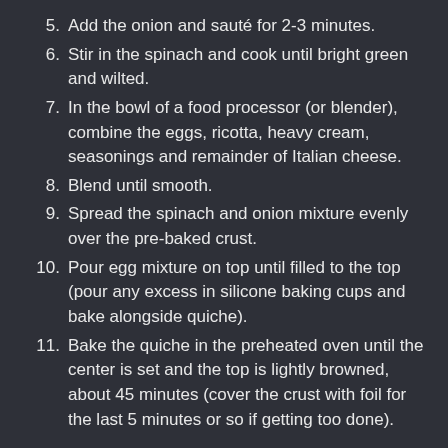5. Add the onion and sauté for 2-3 minutes.
6. Stir in the spinach and cook until bright green and wilted.
7. In the bowl of a food processor (or blender), combine the eggs, ricotta, heavy cream, seasonings and remainder of Italian cheese.
8. Blend until smooth.
9. Spread the spinach and onion mixture evenly over the pre-baked crust.
10. Pour egg mixture on top until filled to the top (pour any excess in silicone baking cups and bake alongside quiche).
11. Bake the quiche in the preheated oven until the center is set and the top is lightly browned, about 45 minutes (cover the crust with foil for the last 5 minutes or so if getting too done).